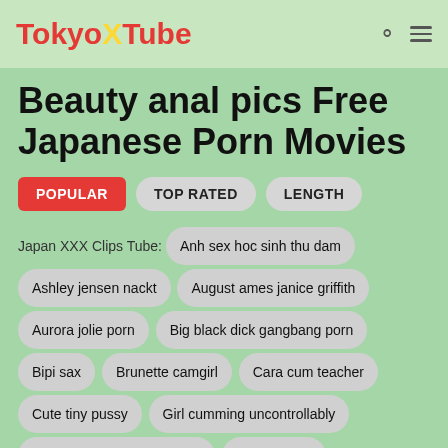TokyoXTube
Beauty anal pics Free Japanese Porn Movies
POPULAR | TOP RATED | LENGTH
Japan XXX Clips Tube: Anh sex hoc sinh thu dam Ashley jensen nackt August ames janice griffith Aurora jolie porn Big black dick gangbang porn Bipi sax Brunette camgirl Cara cum teacher Cute tiny pussy Girl cumming uncontrollably Laxmi rai nude sexy videos Lisa heart ts Sani leon ki video sexy.com Supergirl sfm Woodman orgasm Wwwxxsss Xvideos of milf Xxxmoveshd
[Figure (photo): Two video thumbnails side by side with HD badges, left shows outdoor/nature scene, right shows two women]